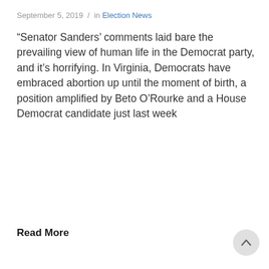September 5, 2019 / in Election News
“Senator Sanders’ comments laid bare the prevailing view of human life in the Democrat party, and it’s horrifying. In Virginia, Democrats have embraced abortion up until the moment of birth, a position amplified by Beto O’Rourke and a House Democrat candidate just last week
Read More
[Figure (logo): 105.9 FM WMAL AM 630 radio station logo with dark blue and red lettering]